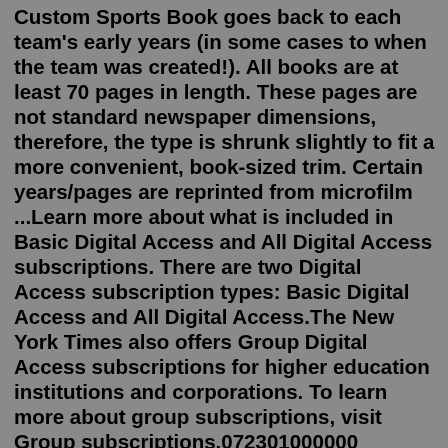Custom Sports Book goes back to each team's early years (in some cases to when the team was created!). All books are at least 70 pages in length. These pages are not standard newspaper dimensions, therefore, the type is shrunk slightly to fit a more convenient, book-sized trim. Certain years/pages are reprinted from microfilm ...Learn more about what is included in Basic Digital Access and All Digital Access subscriptions. There are two Digital Access subscription types: Basic Digital Access and All Digital Access.The New York Times also offers Group Digital Access subscriptions for higher education institutions and corporations. To learn more about group subscriptions, visit Group subscriptions.072301000000 Personalised Our First Year Together Book Personalised Gifts/Personalised Wedding Anniversary Gifts/Personalised First Anniversary Gifts 25.49. Showing all 12 results. Tony wrote on August 17 2022. Gift for an avid newspaper reader. We made the purchase as a birthday gift for